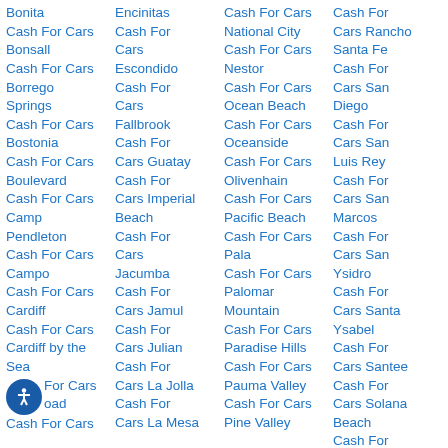Bonita Cash For Cars Bonsall Cash For Cars Borrego Springs Cash For Cars Bostonia Cash For Cars Boulevard Cash For Cars Camp Pendleton Cash For Cars Campo Cash For Cars Cardiff Cash For Cars Cardiff by the Sea Cash For Cars [icon] oad Cash For Cars
Encinitas Cash For Cars Escondido Cash For Cars Fallbrook Cash For Cars Guatay Cash For Cars Imperial Beach Cash For Cars Jacumba Cash For Cars Jamul Cash For Cars Julian Cash For Cars La Jolla Cash For Cars La Mesa
Cash For Cars National City Cash For Cars Nestor Cash For Cars Ocean Beach Cash For Cars Oceanside Cash For Cars Olivenhain Cash For Cars Pacific Beach Cash For Cars Pala Cash For Cars Palomar Mountain Cash For Cars Paradise Hills Cash For Cars Pauma Valley Cash For Cars Pine Valley
Cash For Cars Rancho Santa Fe Cash For Cars San Diego Cash For Cars San Luis Rey Cash For Cars San Marcos Cash For Cars San Ysidro Cash For Cars Santa Ysabel Cash For Cars Santee Cash For Cars Solana Beach Cash For